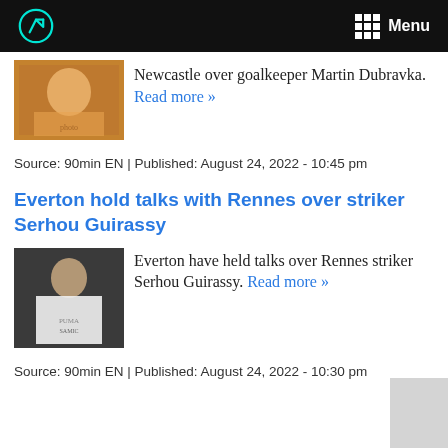Menu
Newcastle over goalkeeper Martin Dubravka. Read more »
Source: 90min EN | Published: August 24, 2022 - 10:45 pm
Everton hold talks with Rennes over striker Serhou Guirassy
Everton have held talks over Rennes striker Serhou Guirassy. Read more »
Source: 90min EN | Published: August 24, 2022 - 10:30 pm